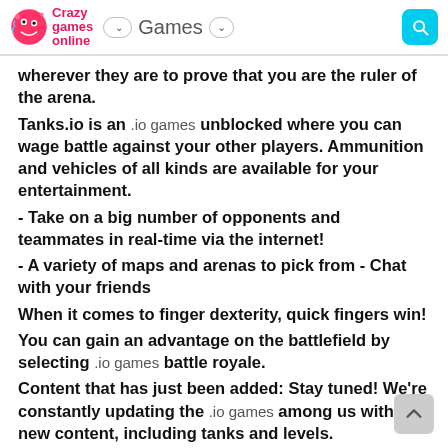Crazy games online | Games
wherever they are to prove that you are the ruler of the arena.
Tanks.io is an .io games unblocked where you can wage battle against your other players. Ammunition and vehicles of all kinds are available for your entertainment.
- Take on a big number of opponents and teammates in real-time via the internet!
- A variety of maps and arenas to pick from - Chat with your friends
When it comes to finger dexterity, quick fingers win!
You can gain an advantage on the battlefield by selecting .io games battle royale.
Content that has just been added: Stay tuned! We're constantly updating the .io games among us with new content, including tanks and levels.
Participate in the .io games best opening event to gain